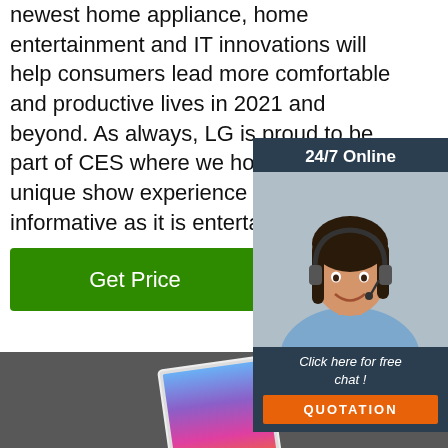newest home appliance, home entertainment and IT innovations will help consumers lead more comfortable and productive lives in 2021 and beyond. As always, LG is proud to be part of CES where we hope to deliver a unique show experience that is as informative as it is entertaining.
[Figure (illustration): Green 'Get Price' button]
[Figure (photo): Chat widget: 24/7 Online banner with woman wearing headset, 'Click here for free chat!' text and orange QUOTATION button]
[Figure (photo): Product image of a colorful rainbow-patterned vertical display/TV on a dark gray background with orange TOP badge]